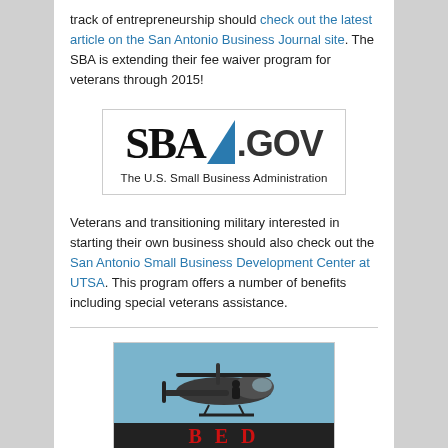track of entrepreneurship should check out the latest article on the San Antonio Business Journal site. The SBA is extending their fee waiver program for veterans through 2015!
[Figure (logo): SBA.GOV logo with blue triangle accent. Text below reads: The U.S. Small Business Administration]
Veterans and transitioning military interested in starting their own business should also check out the San Antonio Small Business Development Center at UTSA. This program offers a number of benefits including special veterans assistance.
[Figure (photo): Military helicopter photo with red letters B E D partially visible at bottom]